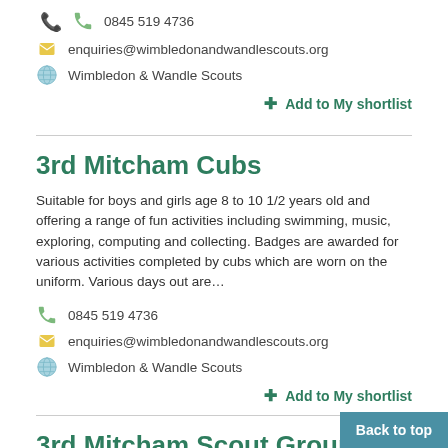0845 519 4736
enquiries@wimbledonandwandlescouts.org
Wimbledon & Wandle Scouts
+ Add to My shortlist
3rd Mitcham Cubs
Suitable for boys and girls age 8 to 10 1/2 years old and offering a range of fun activities including swimming, music, exploring, computing and collecting. Badges are awarded for various activities completed by cubs which are worn on the uniform. Various days out are…
0845 519 4736
enquiries@wimbledonandwandlescouts.org
Wimbledon & Wandle Scouts
+ Add to My shortlist
3rd Mitcham Scout Group
Suitable for boys and girls aged between 10 and 14 years